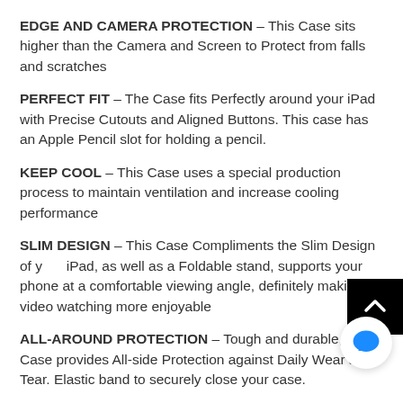EDGE AND CAMERA PROTECTION – This Case sits higher than the Camera and Screen to Protect from falls and scratches
PERFECT FIT – The Case fits Perfectly around your iPad with Precise Cutouts and Aligned Buttons. This case has an Apple Pencil slot for holding a pencil.
KEEP COOL – This Case uses a special production process to maintain ventilation and increase cooling performance
SLIM DESIGN – This Case Compliments the Slim Design of your iPad, as well as a Foldable stand, supports your phone at a comfortable viewing angle, definitely making video watching more enjoyable
ALL-AROUND PROTECTION – Tough and durable, this Case provides All-side Protection against Daily Wear and Tear. Elastic band to securely close your case.
EASY INSTALLATION – The Shell makes loading and unloading Easy in this Case.